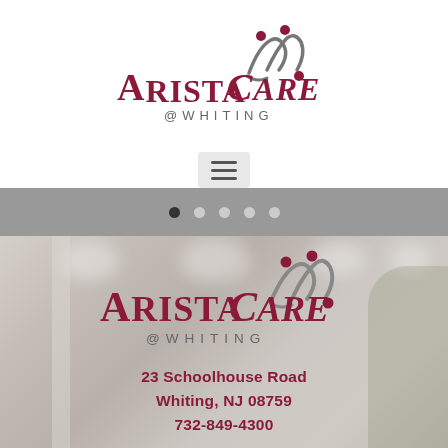[Figure (logo): AristaCare @ Whiting logo — dark red serif text with abstract people icon in grey and dark red]
[Figure (screenshot): Hamburger menu button (three horizontal lines) on a light grey rounded rectangle background]
[Figure (other): Slideshow navigation dots: one dark dot (active) followed by four lighter dots on a grey bar]
[Figure (photo): Interior photo of AristaCare @ Whiting facility lobby/common area with recessed ceiling lights, columns, and plants. AristaCare @ Whiting logo overlaid with address: 23 Schoolhouse Road, Whiting, NJ 08759, 732-849-4300]